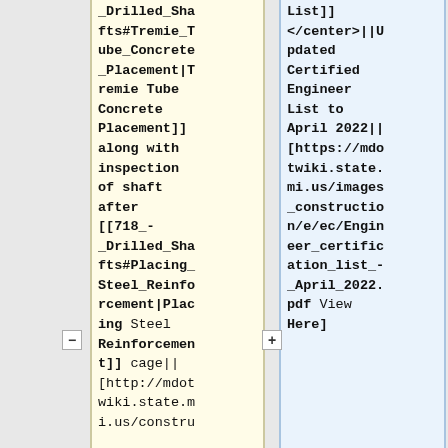| _Drilled_Shafts#Tremie_Tube_Concrete_Placement|Tremie Tube Concrete Placement]] along with inspection of shaft after [[718_-_Drilled_Shafts#Placing_Steel_Reinforcement|Placing Steel Reinforcement]] cage|| [http://mdotwiki.state.mi.us/constru | List]]
</center>||Updated Certified Engineer List to April 2022|| [https://mdotwiki.state.mi.us/images_construction/e/ec/Engineer_certification_list_-_April_2022.pdf View Here] |